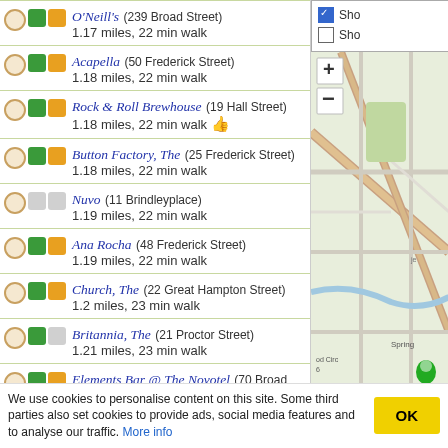O'Neill's (239 Broad Street) 1.17 miles, 22 min walk
Acapella (50 Frederick Street) 1.18 miles, 22 min walk
Rock & Roll Brewhouse (19 Hall Street) 1.18 miles, 22 min walk
Button Factory, The (25 Frederick Street) 1.18 miles, 22 min walk
Nuvo (11 Brindleyplace) 1.19 miles, 22 min walk
Ana Rocha (48 Frederick Street) 1.19 miles, 22 min walk
Church, The (22 Great Hampton Street) 1.2 miles, 23 min walk
Britannia, The (21 Proctor Street) 1.21 miles, 23 min walk
Elements Bar @ The Novotel (70 Broad Street) 1.22 miles, 23 min walk
Pig & Tail, The (12-13 Albion Street) 1.23 miles, 23 min walk
Velvet Music Rooms (200 Broad Street) 1.25 miles, 24 min walk
Clifden (Great Hampton Street) [partial]
[Figure (map): Street map showing part of Birmingham city centre with roads, a green map pin marker, and zoom +/- controls]
We use cookies to personalise content on this site. Some third parties also set cookies to provide ads, social media features and to analyse our traffic. More info